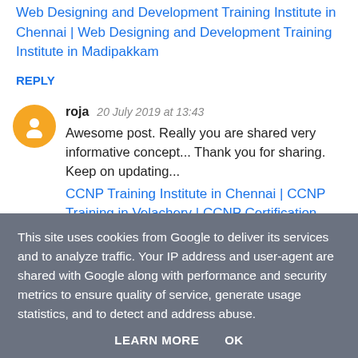Web Designing and Development Training Institute in Chennai | Web Designing and Development Training Institute in Madipakkam
REPLY
roja  20 July 2019 at 13:43
Awesome post. Really you are shared very informative concept... Thank you for sharing. Keep on updating...
CCNP Training Institute in Chennai | CCNP Training in Velachery | CCNP Certification Training in Madipakkam | CCNP Training in Taramani
REPLY
This site uses cookies from Google to deliver its services and to analyze traffic. Your IP address and user-agent are shared with Google along with performance and security metrics to ensure quality of service, generate usage statistics, and to detect and address abuse.
LEARN MORE  OK